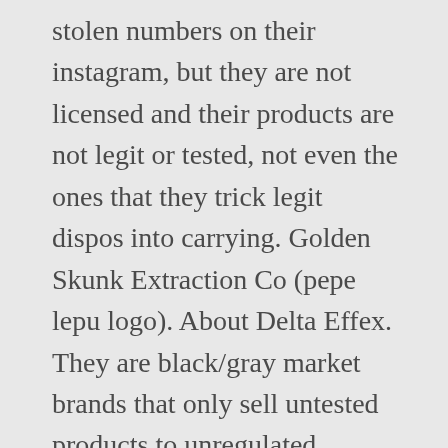stolen numbers on their instagram, but they are not licensed and their products are not legit or tested, not even the ones that they trick legit dispos into carrying. Golden Skunk Extraction Co (pepe lepu logo). About Delta Effex. They are black/gray market brands that only sell untested products to unregulated markets, be that the black market or the medical market in states that do not require any testing or oversight of mmj. All the cart brands listed here are unregulated, untested, and available for anyone to purchase empty and fill at home for resale. Dyme – they are licensed in OR and CA, but they use the dangerous cut phytol in their carts, which is